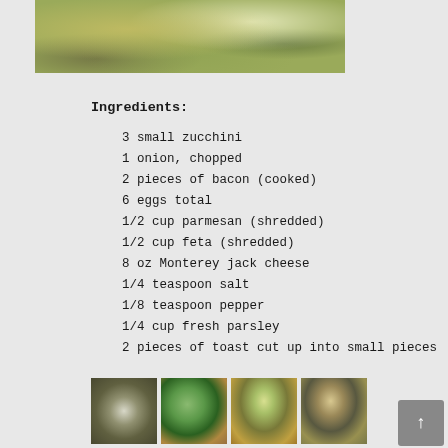[Figure (photo): Close-up photo of a baked zucchini and cheese dish, partially visible at top of page]
Ingredients:
3 small zucchini
1 onion, chopped
2 pieces of bacon (cooked)
6 eggs total
1/2 cup parmesan (shredded)
1/2 cup feta (shredded)
8 oz Monterey jack cheese
1/4 teaspoon salt
1/8 teaspoon pepper
1/4 cup fresh parsley
2 pieces of toast cut up into small pieces
[Figure (photo): Four thumbnail photos showing steps of the zucchini dish preparation]
[Figure (other): Scroll-to-top button in bottom right corner]